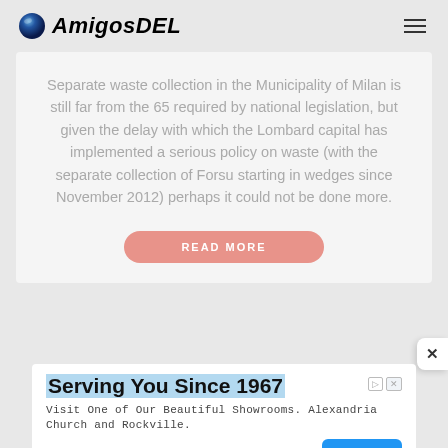AmigosDEL
Separate waste collection in the Municipality of Milan is still far from the 65 required by national legislation, but given the delay with which the Lombard capital has implemented a serious policy on waste (with the separate collection of Forsu starting in wedges since November 2012) perhaps it could not be done more.
READ MORE
Serving You Since 1967
Visit One of Our Beautiful Showrooms. Alexandria Church and Rockville.
Cyprus Air Fireplaces
Open